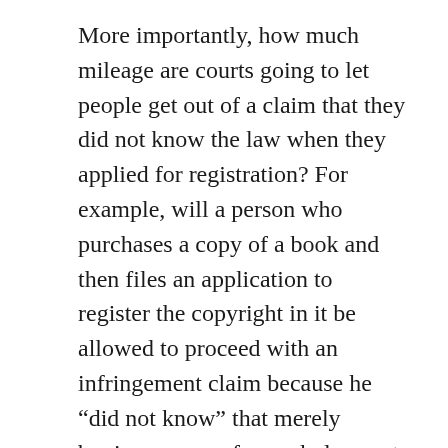More importantly, how much mileage are courts going to let people get out of a claim that they did not know the law when they applied for registration? For example, will a person who purchases a copy of a book and then files an application to register the copyright in it be allowed to proceed with an infringement claim because he “did not know” that merely buying a copy of a work does not amount to a purchase of the copyright? (cf. these guys.)
Of course, copyright ownership can still be disputed in an infringement proceeding even after the Court’s decision in this case. Except in the rare case where it can be proven that an